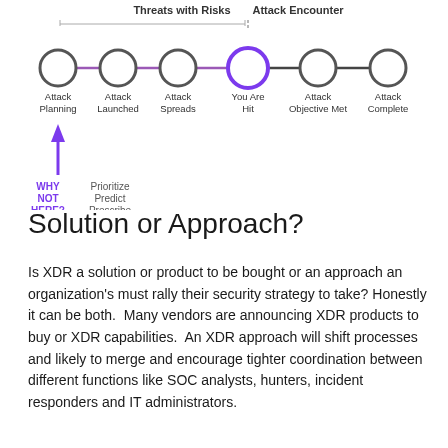[Figure (flowchart): Attack lifecycle timeline diagram showing 6 stages: Attack Planning, Attack Launched, Attack Spreads, You Are Hit (highlighted in purple), Attack Objective Met, Attack Complete. A bracket labeled 'Threats with Risks' spans the first three stages, and 'Attack Encounter' labels the fourth. A purple upward arrow below Attack Planning asks 'WHY NOT HERE?' with labels 'Prioritize Predict Prescribe'.]
Solution or Approach?
Is XDR a solution or product to be bought or an approach an organization's must rally their security strategy to take? Honestly it can be both.  Many vendors are announcing XDR products to buy or XDR capabilities.  An XDR approach will shift processes and likely to merge and encourage tighter coordination between different functions like SOC analysts, hunters, incident responders and IT administrators.